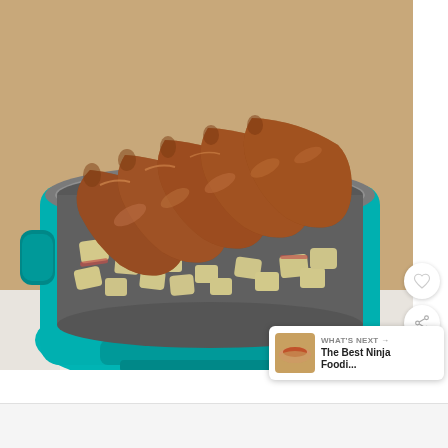[Figure (photo): A teal/turquoise slow cooker or pressure cooker with a stainless steel inner pot containing browned Italian sausage links laid on top of chopped red potatoes. The appliance sits on a wooden surface.]
[Figure (photo): Small thumbnail image of a hot dog or sausage in a bun, used as the 'What's Next' recommendation preview.]
WHAT'S NEXT → The Best Ninja Foodi...